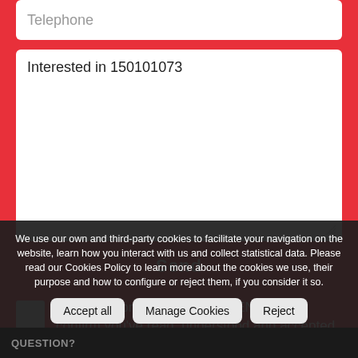Telephone
Interested in  150101073
Send
When you press the button "SEND" you confirm you've read, understood and accepted the conditions of our Privacy
We use our own and third-party cookies to facilitate your navigation on the website, learn how you interact with us and collect statistical data. Please read our Cookies Policy to learn more about the cookies we use, their purpose and how to configure or reject them, if you consider it so.
Accept all
Manage Cookies
Reject
QUESTION?